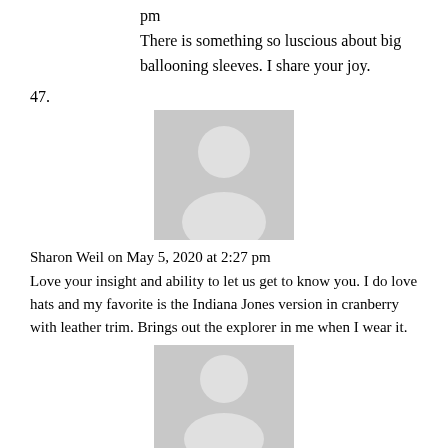pm
There is something so luscious about big ballooning sleeves. I share your joy.
47.
[Figure (illustration): Generic user avatar placeholder image, grey silhouette of a person on grey background]
Sharon Weil on May 5, 2020 at 2:27 pm
Love your insight and ability to let us get to know you. I do love hats and my favorite is the Indiana Jones version in cranberry with leather trim. Brings out the explorer in me when I wear it.
[Figure (illustration): Generic user avatar placeholder image, grey silhouette of a person on grey background]
AccidentalIcon on May 8, 2020 at 12:22